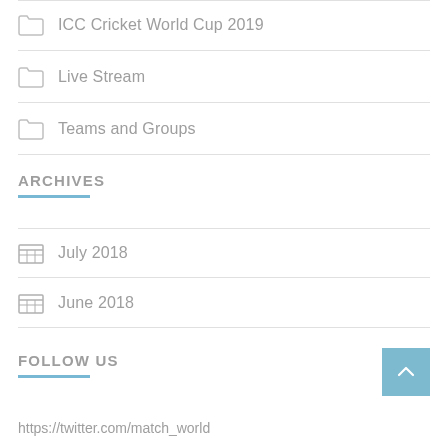ICC Cricket World Cup 2019
Live Stream
Teams and Groups
ARCHIVES
July 2018
June 2018
FOLLOW US
https://twitter.com/match_world